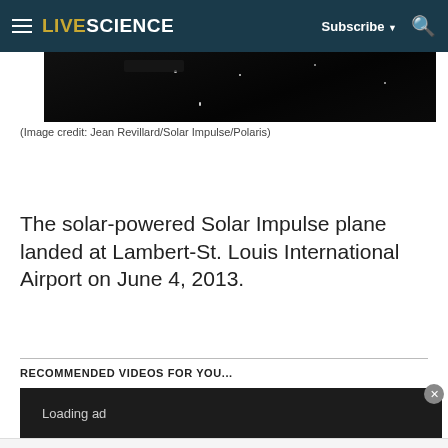LIVESCIENCE | Subscribe | Search
[Figure (photo): Night aerial photograph, dark image showing faint lights against a black background]
(Image credit: Jean Revillard/Solar Impulse/Polaris)
The solar-powered Solar Impulse plane landed at Lambert-St. Louis International Airport on June 4, 2013.
RECOMMENDED VIDEOS FOR YOU...
[Figure (screenshot): Loading ad placeholder box with dark background and 'Loading ad' text]